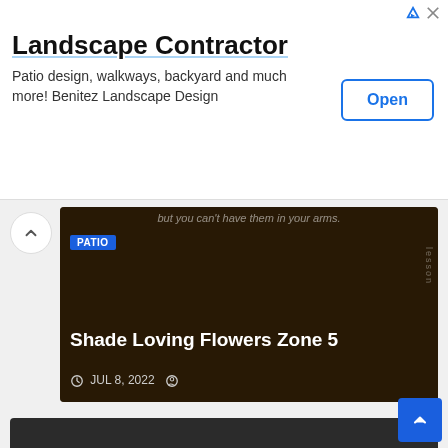[Figure (screenshot): Advertisement banner for Landscape Contractor app showing title, description, and Open button]
Landscape Contractor
Patio design, walkways, backyard and much more! Benitez Landscape Design
[Figure (screenshot): Article card with dark background showing 'Shade Loving Flowers Zone 5' with PATIO category badge and date JUL 8, 2022]
Shade Loving Flowers Zone 5
JUL 8, 2022
[Figure (screenshot): Article card with dark background showing 'Emperor Wu Hosta' with PATIO category badge and date JUL 8, 2022]
Emperor Wu Hosta
JUL 8, 2022